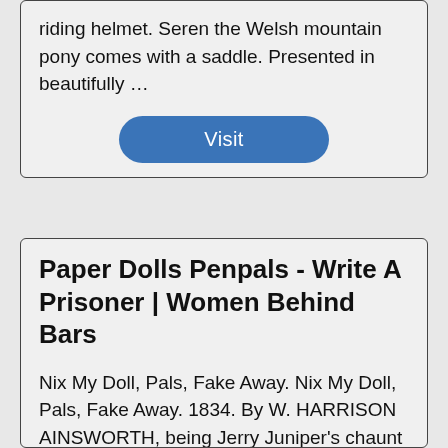riding helmet. Seren the Welsh mountain pony comes with a saddle. Presented in beautifully …
Visit
Paper Dolls Penpals - Write A Prisoner | Women Behind Bars
Nix My Doll, Pals, Fake Away. Nix My Doll, Pals, Fake Away. 1834. By W. HARRISON AINSWORTH, being Jerry Juniper's chaunt in Rookwood .. In a box of the stone jug I